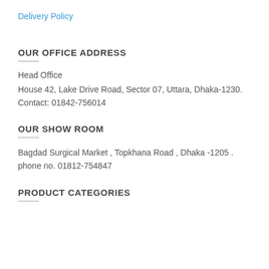Delivery Policy
OUR OFFICE ADDRESS
Head Office
House 42, Lake Drive Road, Sector 07, Uttara, Dhaka-1230.
Contact: 01842-756014
OUR SHOW ROOM
Bagdad Surgical Market , Topkhana Road , Dhaka -1205 .
phone no. 01812-754847
PRODUCT CATEGORIES